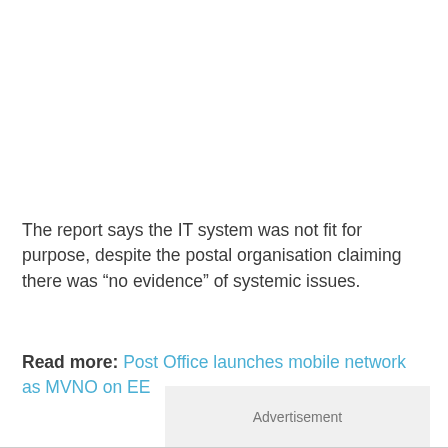The report says the IT system was not fit for purpose, despite the postal organisation claiming there was “no evidence” of systemic issues.
Read more: Post Office launches mobile network as MVNO on EE
Advertisement